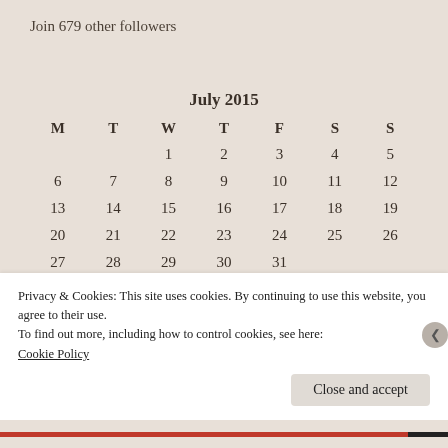Join 679 other followers
| M | T | W | T | F | S | S |
| --- | --- | --- | --- | --- | --- | --- |
|  |  | 1 | 2 | 3 | 4 | 5 |
| 6 | 7 | 8 | 9 | 10 | 11 | 12 |
| 13 | 14 | 15 | 16 | 17 | 18 | 19 |
| 20 | 21 | 22 | 23 | 24 | 25 | 26 |
| 27 | 28 | 29 | 30 | 31 |  |  |
Privacy & Cookies: This site uses cookies. By continuing to use this website, you agree to their use.
To find out more, including how to control cookies, see here: Cookie Policy
Close and accept